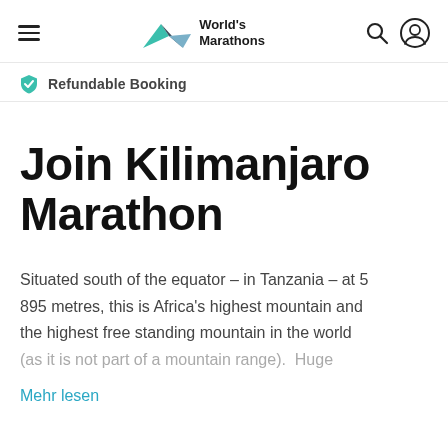World's Marathons
Refundable Booking
Join Kilimanjaro Marathon
Situated south of the equator – in Tanzania – at 5 895 metres, this is Africa's highest mountain and the highest free standing mountain in the world (as it is not part of a mountain range). Huge
Mehr lesen